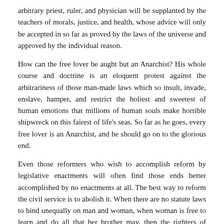arbitrary priest, ruler, and physician will be supplanted by the teachers of morals, justice, and health, whose advice will only be accepted in so far as proved by the laws of the universe and approved by the individual reason.
How can the free lover be aught but an Anarchist? His whole course and doctrine is an eloquent protest against the arbitrariness of those man-made laws which so insult, invade, enslave, hamper, and restrict the holiest and sweetest of human emotions that millions of human souls make horrible shipwreck on this fairest of life's seas. So far as he goes, every free lover is an Anarchist, and he should go on to the glorious end.
Even those reformers who wish to accomplish reform by legislative enactments will often find those ends better accomplished by no enactments at all. The best way to reform the civil service is to abolish it. When there are no statute laws to bind unequally on man and woman, when woman is free to learn and do all that her brother may, then the righters of Woman will see the fruition of their hopes. Pure democracy is only realizable in Anarchy, for that alone is a government in which each man has his full share, and all his political rights and privileges. Where can the financial reformer find a financial policy more radical and scientific than that advocated by Anarchist? Where can the laborer from f chol better form the